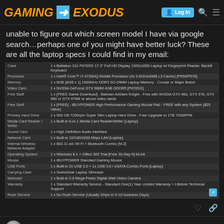Gaming Exodus — Log In
unable to figure out which screen model I have via google search…perhaps one of you might have better luck? These are all the laptop specs I could find in my email:
| Component | Specification |
| --- | --- |
| Case | 1 x Battalion 101 P670SG 17.3" Full HD Display 1920x1080 Laptop w/ Fingerprint Reader, Backlit Keyboard |
| Processor | 1 x Intel® Core™ i7-4720HQ Mobile Processor (4x 2.6GHz/6MB L3 Cache) [P650/P670] |
| Memory | 1 x 8GB [8GB x 1] 1600MHz DDR3 SO-DIMM Laptop Memory - Corsair or Major Brand |
| Video Card | 1 x NVIDIA GeForce GTX 980M 4GB GDDR5 [P670SG] |
| Free Stuff | 1 x [FREE Game Download] - Batman Arkham Knight - Free with NVIDIA GTX 960, GTX 970, GTX 980 or GTX 970M or above video cards |
| Free Stuff | 1 x [FREE] - iBUYPOWER High Performance Gaming Mouse Pad - FREE with any System ($25 Value) |
| Primary Hard Drive | 1 x 500 GB 7200rpm Super Slim Laptop Hard Drive - Free Upgrade to 1TB 7200RPM |
| Media Card Reader / Writer | 1 x Built-in 6-in-1 Media Card Reader/Writer [Laptop] |
| Sound Card | 1 x High Definition Audio Interface |
| Network Card | 1 x Built-in 10/100/1000 Mbps LAN [Laptop] |
| Internal Wireless Network Adapter | 1 x 802.11 a/c Wi Fi + Bluetooth Combo [M.2] |
| Operating System | 1 x Windows 8.1 + Office 365 Trial [Free 30-Day It] 64-bit |
| Mouse | 1 x iBUYPOWER Standard Gaming Mouse |
| USB Ports | 1 x Built-in 2x USB 3.0 + 1x USB 3.0 / eSATA Combo Ports [Laptop] |
| Carrying Case | 1 x SwissGear Laptop Slimcase |
| Webcam | 1 x Built-in 2.0 Mega Pixels Digital Web Video Camera |
| Warranty | 1 x Standard Warranty Service - Standard One(1) Year Limited Warranty + Lifetime Technical Support |
| Rush Service | 1 x No Rush Service (Usually Ships In 5-10 business Days) |
milkywayman
3 / 23